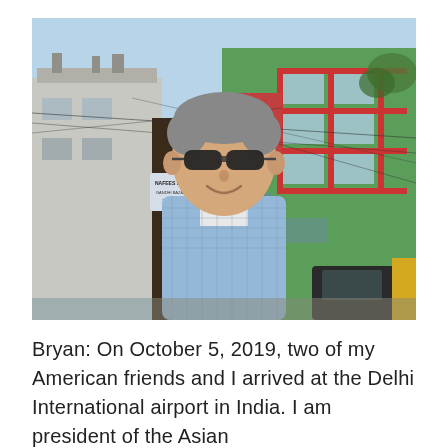[Figure (photo): A man wearing sunglasses and a light blue checked shirt stands smiling in front of colorful multi-story buildings on a street in India. A sign reading 'NAFEES IRON STORE' is visible on the left. Electrical wires cross the background. A green building with a large cross-shaped window frame is prominent on the right.]
Bryan: On October 5, 2019, two of my American friends and I arrived at the Delhi International airport in India. I am president of the Asian